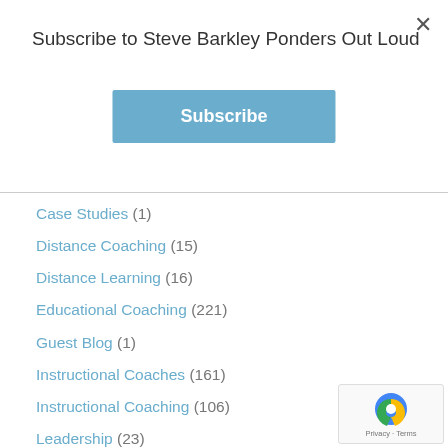Subscribe to Steve Barkley Ponders Out Loud
Subscribe
Case Studies (1)
Distance Coaching (15)
Distance Learning (16)
Educational Coaching (221)
Guest Blog (1)
Instructional Coaches (161)
Instructional Coaching (106)
Leadership (23)
Learning Styles (88)
Motivation & Engagement (106)
News & Events (29)